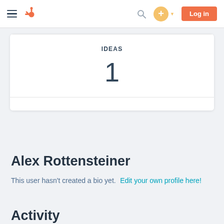HubSpot Community navigation bar with menu icon, logo, search, plus button, and Log in button
IDEAS
1
Alex Rottensteiner
This user hasn't created a bio yet. Edit your own profile here!
Activity